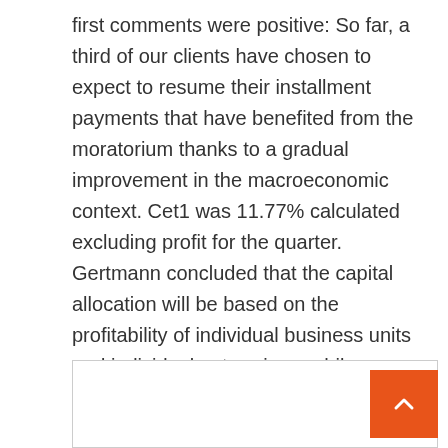first comments were positive: So far, a third of our clients have chosen to expect to resume their installment payments that have benefited from the moratorium thanks to a gradual improvement in the macroeconomic context. Cet1 was 11.77% calculated excluding profit for the quarter. Gertmann concluded that the capital allocation will be based on the profitability of individual business units and individual enterprises, while maintaining diversification of businesses and bad loans that have confirmed their value even in the Covid-19 crisis.